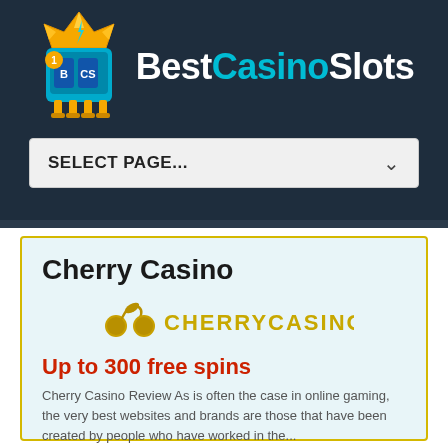BestCasinoSlots
SELECT PAGE...
Cherry Casino
[Figure (logo): Cherry Casino logo: golden cherry icon with text CHERRYCASINO in golden/yellow color]
Up to 300 free spins
Cherry Casino Review As is often the case in online gaming, the very best websites and brands are those that have been created by people who have worked in the...